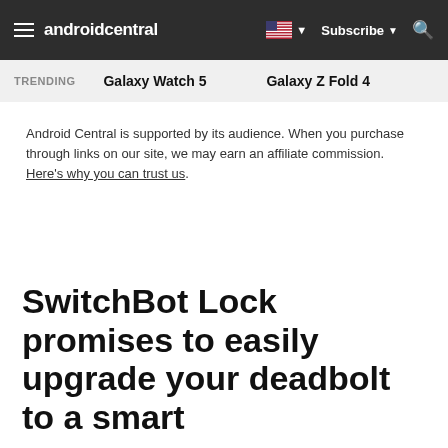androidcentral — Subscribe — Search
TRENDING   Galaxy Watch 5   Galaxy Z Fold 4
Android Central is supported by its audience. When you purchase through links on our site, we may earn an affiliate commission. Here's why you can trust us.
SwitchBot Lock promises to easily upgrade your deadbolt to a smart